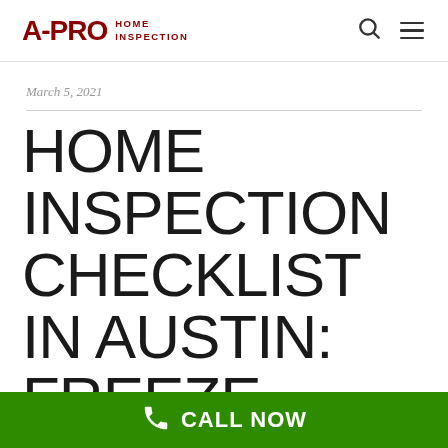A-PRO HOME INSPECTION
March 5, 2021
HOME INSPECTION CHECKLIST IN AUSTIN: FREEZE-
CALL NOW